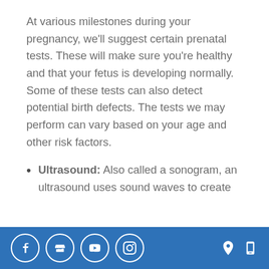At various milestones during your pregnancy, we'll suggest certain prenatal tests. These will make sure you're healthy and that your fetus is developing normally. Some of these tests can also detect potential birth defects. The tests we may perform can vary based on your age and other risk factors.
Ultrasound: Also called a sonogram, an ultrasound uses sound waves to create
Social media icons: Facebook, Storefront, YouTube, Instagram. Location and mobile icons on the right.